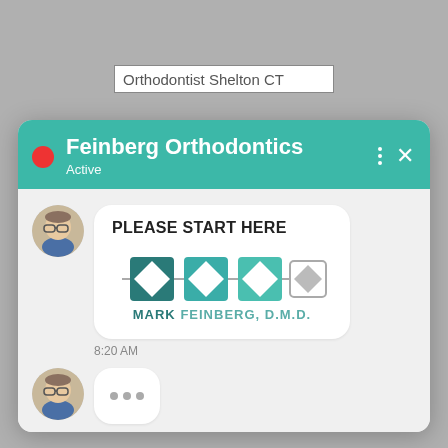[Figure (screenshot): Search box showing 'Orthodontist Shelton CT' on gray background]
[Figure (screenshot): Chat interface from Feinberg Orthodontics — teal header with title 'Feinberg Orthodontics', subtitle 'Active', red dot, three-dots menu and X button. Chat message with avatar showing 'PLEASE START HERE' and Mark Feinberg D.M.D. logo, timestamp 8:20 AM, and a typing indicator with avatar below.]